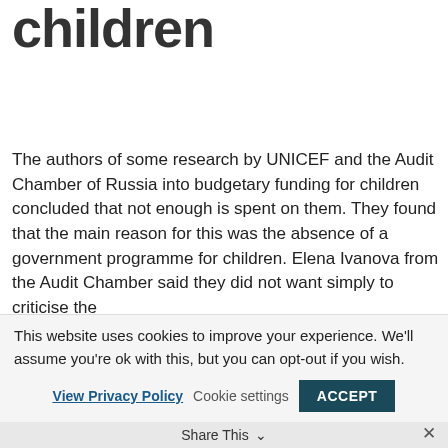children
The authors of some research by UNICEF and the Audit Chamber of Russia into budgetary funding for children concluded that not enough is spent on them. They found that the main reason for this was the absence of a government programme for children. Elena Ivanova from the Audit Chamber said they did not want simply to criticise the
This website uses cookies to improve your experience. We'll assume you're ok with this, but you can opt-out if you wish.
View Privacy Policy   Cookie settings   ACCEPT   Share This   ✕